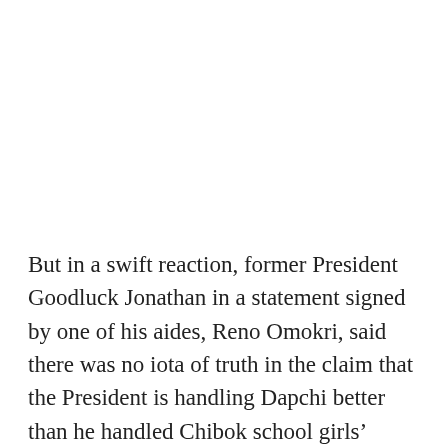But in a swift reaction, former President Goodluck Jonathan in a statement signed by one of his aides, Reno Omokri, said there was no iota of truth in the claim that the President is handling Dapchi better than he handled Chibok school girls’ abduction.